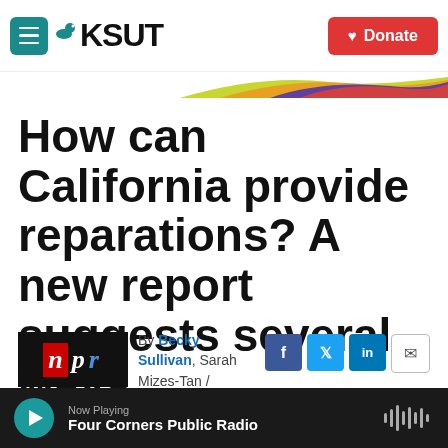KSUT
How can California provide reparations? A new report suggests several ways
By Becky Sullivan, Sarah Mizes-Tan / CapRadio
Published June 1, 2022
Now Playing Four Corners Public Radio